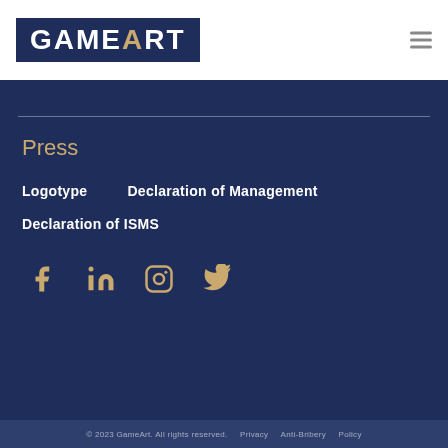[Figure (logo): GameArt logo — white text on dark navy blue rectangle background]
Press
Logotype
Declaration of Management
Declaration of ISMS
[Figure (infographic): Social media icons: Facebook, LinkedIn, Instagram, Twitter in gold/tan color]
© 2023 GameArt. All rights reserved.   Privacy   Anti-Bribery   Policy